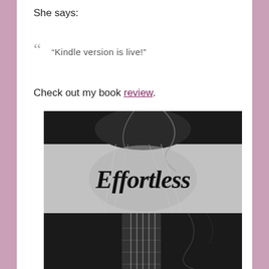She says:
“Kindle version is live!”
Check out my book review.
[Figure (photo): Book cover of 'Effortless' showing a guitar in black and white with a grey banner in the middle displaying the cursive title 'Effortless']